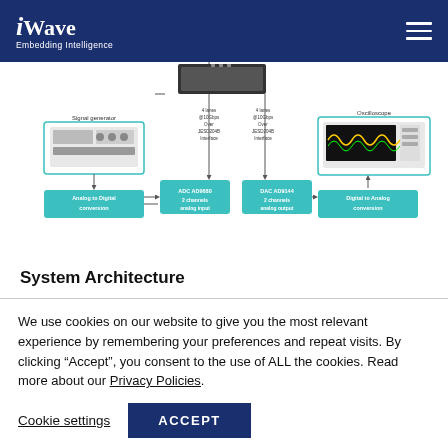iWave Embedding Intelligence
[Figure (engineering-diagram): System architecture diagram showing Signal generator connected to Analog to Digital conversion block with ADC AD9680 (2 channels analog input), connected via 4 lanes @10Gbps Over JESD204B Interface to a central FPGA module, then to DAC AD9144 (2 channels analog output) via 4 lanes @10Gbps Over JESD204B Interface, connected to Digital to Analog conversion block and Oscilloscope.]
System Architecture
We use cookies on our website to give you the most relevant experience by remembering your preferences and repeat visits. By clicking “Accept”, you consent to the use of ALL the cookies. Read more about our Privacy Policies.
Cookie settings  ACCEPT